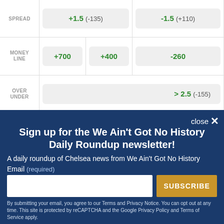|  | Team 1 | Team 2 |
| --- | --- | --- |
| SPREAD | +1.5 (-135) | -1.5 (+110) |
| MONEY LINE | +700 | +400 | -260 |
| OVER UNDER | > 2.5 (-155) |  |
close ×
Sign up for the We Ain't Got No History Daily Roundup newsletter!
A daily roundup of Chelsea news from We Ain't Got No History
Email (required)
SUBSCRIBE
By submitting your email, you agree to our Terms and Privacy Notice. You can opt out at any time. This site is protected by reCAPTCHA and the Google Privacy Policy and Terms of Service apply.